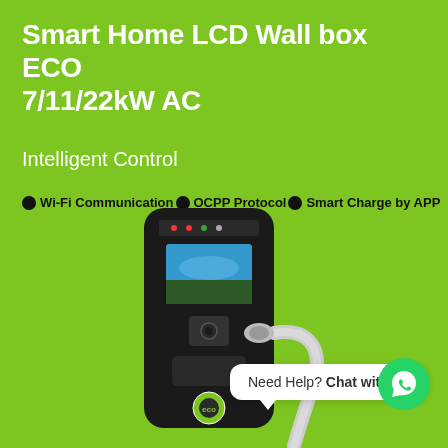Smart Home LCD Wall box ECO 7/11/22kW AC
Intelligent Control
Wi-Fi Communication
OCPP Protocol
Smart Charge by APP
[Figure (photo): Black EV wall box charger with LCD screen, charging cable and ECO logo, displayed on green background]
Need Help? Chat with us